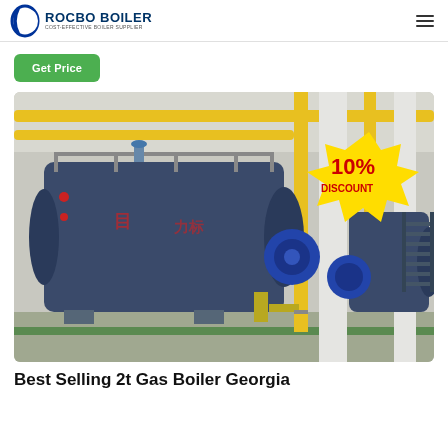ROCBO BOILER — COST-EFFECTIVE BOILER SUPPLIER
Get Price
[Figure (photo): Industrial gas boilers in a factory setting with yellow pipes and structure. A large dark blue cylindrical boiler is prominent in the center-left. A second smaller boiler is visible on the right. A red and white '10% DISCOUNT' badge overlays the upper-right area of the image.]
Best Selling 2t Gas Boiler Georgia